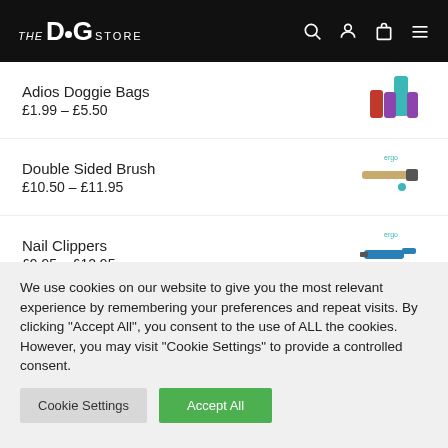THE DOG STORE
Adios Doggie Bags
£1.99 – £5.50
Double Sided Brush
£10.50 – £11.95
Nail Clippers
£9.95 – £12.95
Straight Scissors
We use cookies on our website to give you the most relevant experience by remembering your preferences and repeat visits. By clicking "Accept All", you consent to the use of ALL the cookies. However, you may visit "Cookie Settings" to provide a controlled consent.
Cookie Settings
Accept All